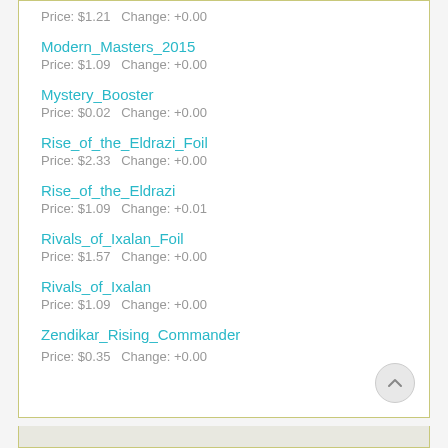Price: $1.21   Change: +0.00
Modern_Masters_2015
Price: $1.09   Change: +0.00
Mystery_Booster
Price: $0.02   Change: +0.00
Rise_of_the_Eldrazi_Foil
Price: $2.33   Change: +0.00
Rise_of_the_Eldrazi
Price: $1.09   Change: +0.01
Rivals_of_Ixalan_Foil
Price: $1.57   Change: +0.00
Rivals_of_Ixalan
Price: $1.09   Change: +0.00
Zendikar_Rising_Commander
Price: $0.35   Change: +0.00